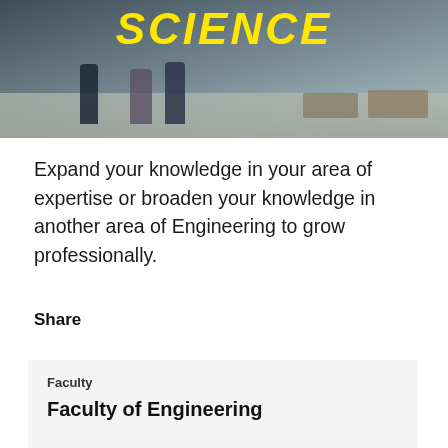[Figure (photo): Banner photo of people walking outdoors near a waterfront, with the word SCIENCE in large bold yellow italic text overlaid at the top.]
Expand your knowledge in your area of expertise or broaden your knowledge in another area of Engineering to grow professionally.
Share
Faculty
Faculty of Engineering